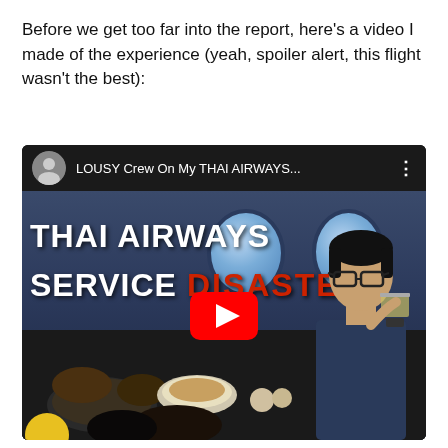Before we get too far into the report, here's a video I made of the experience (yeah, spoiler alert, this flight wasn't the best):
[Figure (screenshot): YouTube video embed thumbnail showing 'LOUSY Crew On My THAI AIRWAYS...' with a thumbnail image showing text 'THAI AIRWAYS SERVICE DISASTER' over an airplane interior background with food tray and a person drinking, with a red YouTube play button in the center.]